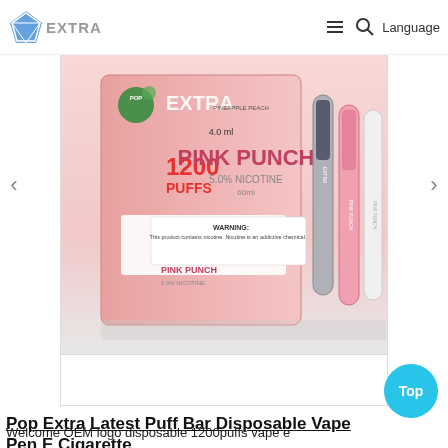EXTRA | Language
[Figure (photo): Product photo of Pop Extra Pink Punch disposable vape pen. Shows pink packaging box labeled '1200 PUFFS', '4.0 ml', 'PINK PUNCH', '5.0% NICOTINE' with WARNING text 'This product contains nicotine. Nicotine is an addictive chemical.' alongside two slim vape pen devices in pink/white colors.]
Pop Extra Latest Puff Bar Disposable Vape Pen E Cigarette
Welcome OEM logo disposable 1200puffs vape e